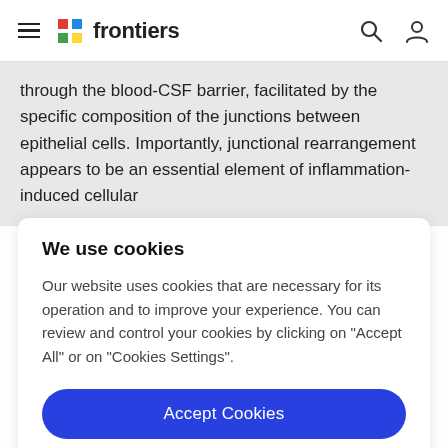frontiers
through the blood-CSF barrier, facilitated by the specific composition of the junctions between epithelial cells. Importantly, junctional rearrangement appears to be an essential element of inflammation-induced cellular
We use cookies
Our website uses cookies that are necessary for its operation and to improve your experience. You can review and control your cookies by clicking on "Accept All" or on "Cookies Settings".
Accept Cookies
Cookies Settings